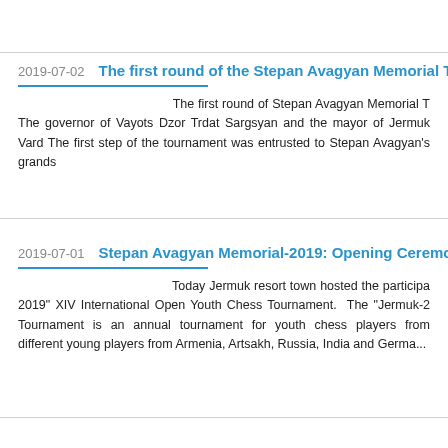2019-07-02   The first round of the Stepan Avagyan Memorial Tour
The first round of Stepan Avagyan Memorial T The governor of Vayots Dzor Trdat Sargsyan and the mayor of Jermuk Vard The first step of the tournament was entrusted to Stepan Avagyan's grands
2019-07-01   Stepan Avagyan Memorial-2019: Opening Ceremony
Today Jermuk resort town hosted the participa 2019" XIV International Open Youth Chess Tournament. The "Jermuk-2 Tournament is an annual tournament for youth chess players from different young players from Armenia, Artsakh, Russia, India and Germa...